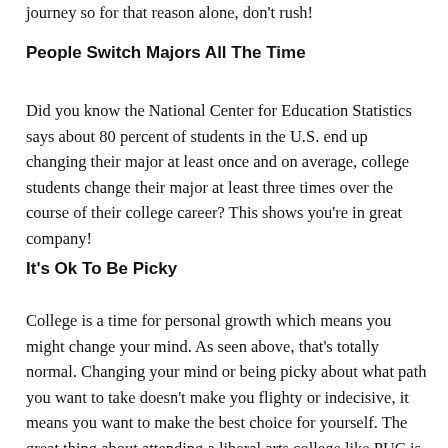journey so for that reason alone, don't rush!
People Switch Majors All The Time
Did you know the National Center for Education Statistics says about 80 percent of students in the U.S. end up changing their major at least once and on average, college students change their major at least three times over the course of their college career? This shows you're in great company!
It's Ok To Be Picky
College is a time for personal growth which means you might change your mind. As seen above, that's totally normal. Changing your mind or being picky about what path you want to take doesn't make you flighty or indecisive, it means you want to make the best choice for yourself. The great thing about attending a liberal arts college like PUC is you have plenty of options to choose from. And while you dabble in